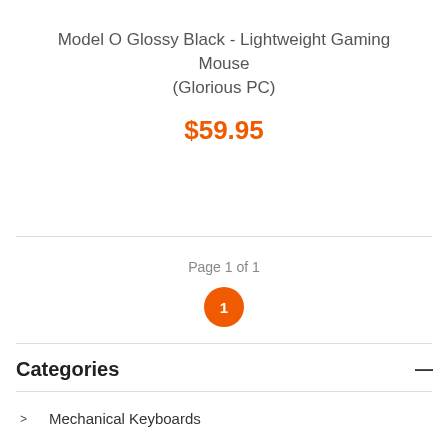Model O Glossy Black - Lightweight Gaming Mouse (Glorious PC)
$59.95
Page 1 of 1
1
Categories
Mechanical Keyboards